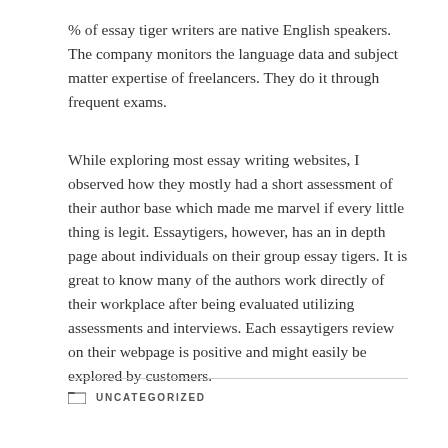% of essay tiger writers are native English speakers. The company monitors the language data and subject matter expertise of freelancers. They do it through frequent exams.
While exploring most essay writing websites, I observed how they mostly had a short assessment of their author base which made me marvel if every little thing is legit. Essaytigers, however, has an in depth page about individuals on their group essay tigers. It is great to know many of the authors work directly of their workplace after being evaluated utilizing assessments and interviews. Each essaytigers review on their webpage is positive and might easily be explored by customers.
UNCATEGORIZED